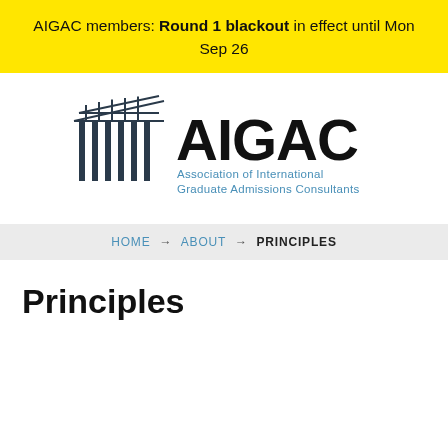AIGAC members: Round 1 blackout in effect until Mon Sep 26
[Figure (logo): AIGAC logo — columned building icon on left, large 'AIGAC' text on right, below it 'Association of International Graduate Admissions Consultants' in blue]
HOME → ABOUT → PRINCIPLES
Principles